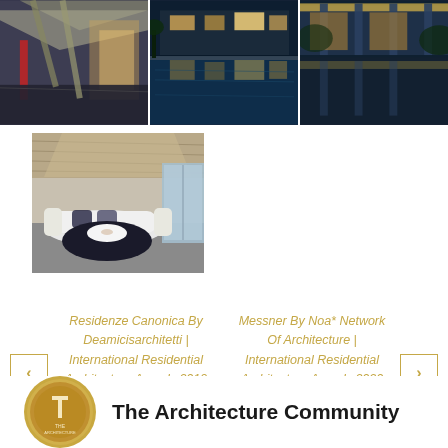[Figure (photo): Three architectural building photos side by side showing modern residential architecture with dramatic lighting, swimming pools, and geometric forms at dusk/night]
[Figure (photo): Interior photo of a modern living space with curved white sofa, dark round rug, floor-to-ceiling windows, and geometric ceiling]
Residenze Canonica By Deamicisarchitetti | International Residential Architecture Awards 2019
Messner By Noa* Network Of Architecture | International Residential Architecture Awards 2020
[Figure (logo): Golden circular badge/seal for The Architecture Community award]
The Architecture Community